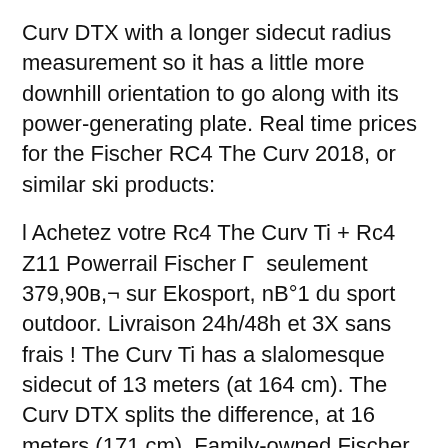Curv DTX with a longer sidecut radius measurement so it has a little more downhill orientation to go along with its power-generating plate. Real time prices for the Fischer RC4 The Curv 2018, or similar ski products:
l Achetez votre Rc4 The Curv Ti + Rc4 Z11 Powerrail Fischer Г  seulement 379,90в,¬ sur Ekosport, nВ°1 du sport outdoor. Livraison 24h/48h et 3X sans frais ! The Curv Ti has a slalomesque sidecut of 13 meters (at 164 cm). The Curv DTX splits the difference, at 16 meters (171 cm). Family-owned Fischer Skis is based in Reid, Austria, where all its skis (and many of those of other brands) are built. Fischer says its